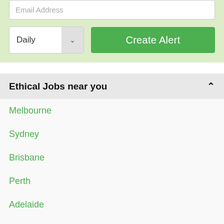Email Address
Daily
Create Alert
Ethical Jobs near you
Melbourne
Sydney
Brisbane
Perth
Adelaide
Canberra & ACT
Darwin
Hobart